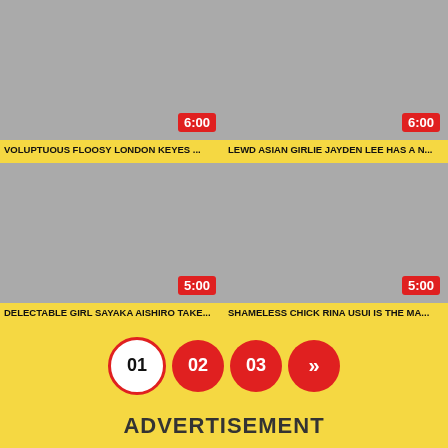[Figure (screenshot): Video thumbnail 1 with duration 6:00]
[Figure (screenshot): Video thumbnail 2 with duration 6:00]
VOLUPTUOUS FLOOSY LONDON KEYES ...
LEWD ASIAN GIRLIE JAYDEN LEE HAS A N...
[Figure (screenshot): Video thumbnail 3 with duration 5:00]
[Figure (screenshot): Video thumbnail 4 with duration 5:00]
DELECTABLE GIRL SAYAKA AISHIRO TAKE...
SHAMELESS CHICK RINA USUI IS THE MA...
01  02  03  >>
ADVERTISEMENT